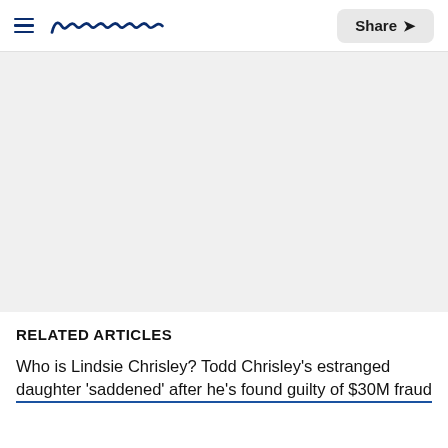Meaww | Share
[Figure (other): Gray advertisement placeholder area]
RELATED ARTICLES
Who is Lindsie Chrisley? Todd Chrisley's estranged daughter 'saddened' after he's found guilty of $30M fraud